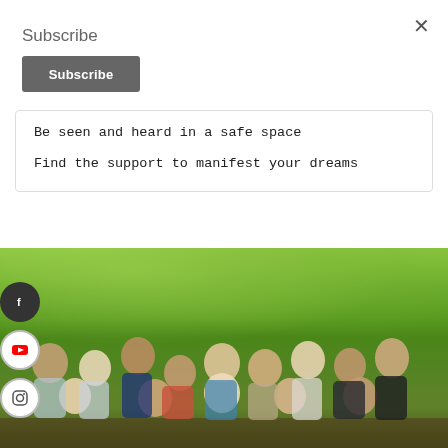Subscribe
Subscribe
Be seen and heard in a safe space
Find the support to manifest your dreams
[Figure (photo): Group photo of approximately 15 diverse people smiling and making peace signs outdoors in front of green trees on a deck/porch setting.]